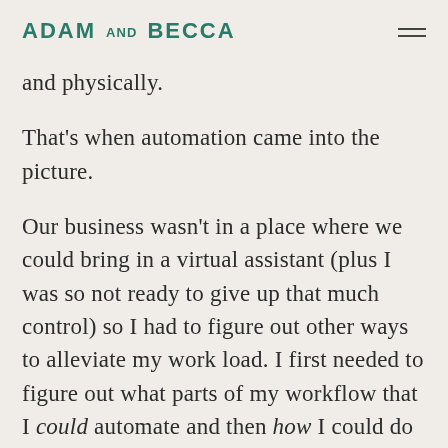ADAM AND BECCA
and physically.
That's when automation came into the picture.
Our business wasn't in a place where we could bring in a virtual assistant (plus I was so not ready to give up that much control) so I had to figure out other ways to alleviate my work load. I first needed to figure out what parts of my workflow that I could automate and then how I could do that.